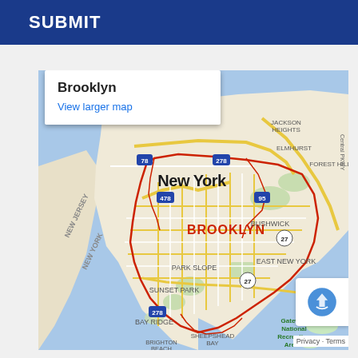SUBMIT
[Figure (map): Google Maps screenshot showing Brooklyn, New York area with red boundary outline highlighting Brooklyn borough. Visible neighborhoods include Park Slope, Sunset Park, Bay Ridge, Bushwick, East New York, Sheepshead Bay, Brighton Beach. Also shows parts of New Jersey, Jackson Heights, Elmhurst, Forest Hills. Major roads and highways labeled including 278, 478, 27, 95, Belt Pkwy, Central Pkwy. Gateway National Recreation Area visible at bottom right. Map popup showing 'Brooklyn' title with 'View larger map' link.]
Brooklyn
View larger map